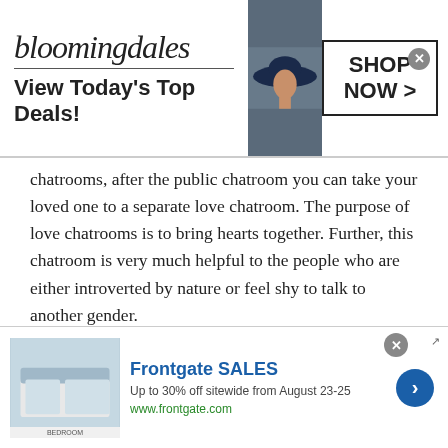[Figure (screenshot): Bloomingdales advertisement banner with logo, model wearing wide-brim hat, and SHOP NOW button]
chatrooms, after the public chatroom you can take your loved one to a separate love chatroom. The purpose of love chatrooms is to bring hearts together. Further, this chatroom is very much helpful to the people who are either introverted by nature or feel shy to talk to another gender.
Make New Friends:
The world has now become a global village. Everything is interconnected when you chat with
[Figure (screenshot): Frontgate SALES advertisement — Up to 30% off sitewide from August 23-25, www.frontgate.com]